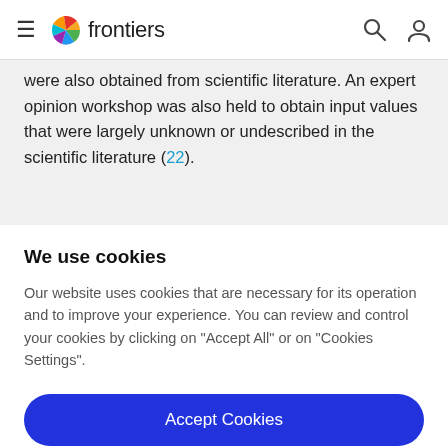frontiers
were also obtained from scientific literature. An expert opinion workshop was also held to obtain input values that were largely unknown or undescribed in the scientific literature (22).
We use cookies
Our website uses cookies that are necessary for its operation and to improve your experience. You can review and control your cookies by clicking on "Accept All" or on "Cookies Settings".
Accept Cookies
Cookies Settings